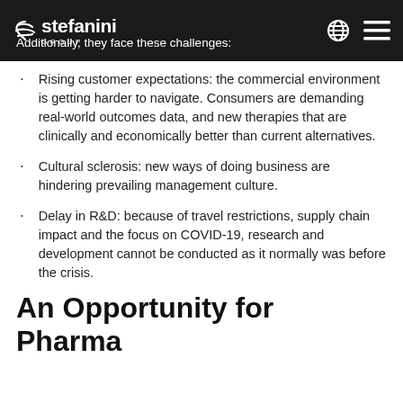stefanini GROUP
Additionally, they face these challenges:
Rising customer expectations: the commercial environment is getting harder to navigate. Consumers are demanding real-world outcomes data, and new therapies that are clinically and economically better than current alternatives.
Cultural sclerosis: new ways of doing business are hindering prevailing management culture.
Delay in R&D: because of travel restrictions, supply chain impact and the focus on COVID-19, research and development cannot be conducted as it normally was before the crisis.
An Opportunity for Pharma